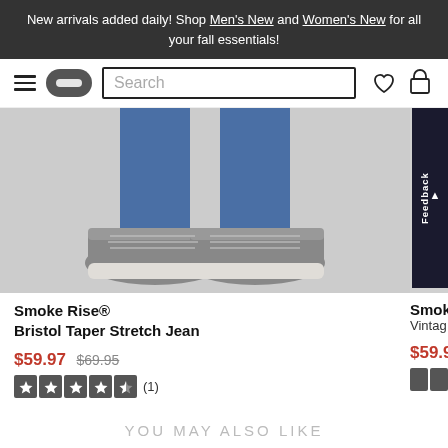New arrivals added daily! Shop Men's New and Women's New for all your fall essentials!
[Figure (screenshot): E-commerce website nav bar with hamburger menu, logo pill, search box, heart and bag icons]
[Figure (photo): Photo of grey sneakers on person wearing blue jeans, cropped at ankle level, product image for Smoke Rise Bristol Taper Stretch Jean]
Smoke Rise® Bristol Taper Stretch Jean
$59.97  $69.95  (1) 4.5 stars
Smok Vintage $59.9
YOU MAY ALSO LIKE
[Figure (illustration): Heart/wishlist icon at bottom right of page]